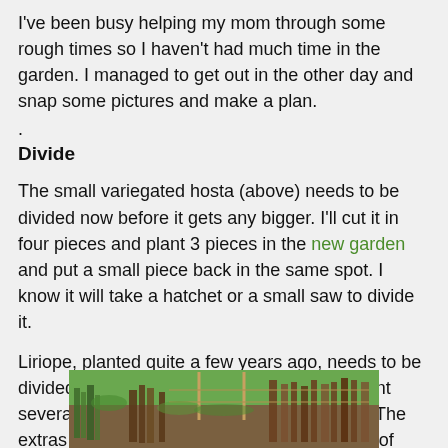I've been busy helping my mom through some rough times so I haven't had much time in the garden. I managed to get out in the other day and snap some pictures and make a plan.
.
Divide
The small variegated hosta (above) needs to be divided now before it gets any bigger. I'll cut it in four pieces and plant 3 pieces in the new garden and put a small piece back in the same spot. I know it will take a hatchet or a small saw to divide it.
Liriope, planted quite a few years ago, needs to be divided. Can you believe the size of it? I'll plant several small pieces along the garden edge. The extras will be given away or composted. Tool of choice will be a hatchet or saw. This is one tough little plant.
[Figure (photo): Garden photo showing plants, liriope, and garden bed with fence posts visible]